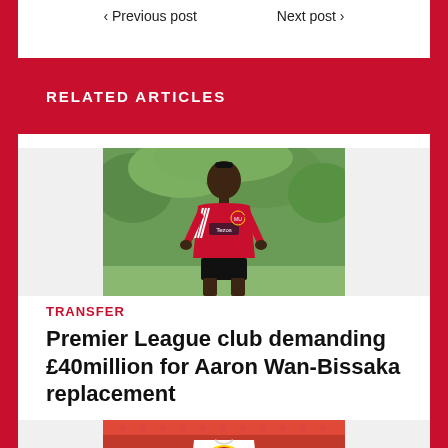< Previous post    Next post >
RELATED ARTICLES
[Figure (photo): Aaron Wan-Bissaka in Manchester United red Tezos adidas training kit, standing outdoors with green foliage background]
TRANSFER
Premier League club demanding £40million for Aaron Wan-Bissaka replacement
[Figure (photo): Manchester United player holding shirt with Manchester United badge/crest, stadium seating in background]